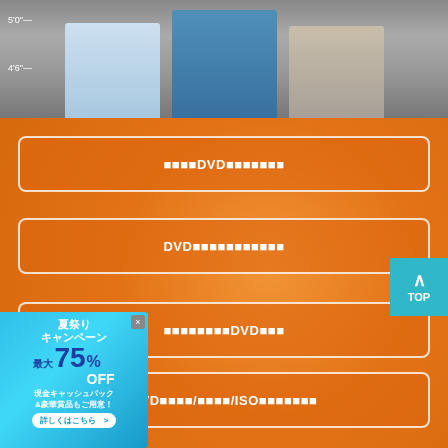[Figure (photo): Movie lineup photo showing three men standing against a height-measurement wall backdrop, police lineup style]
□□□□DVD□□□□□□□
DVD□□□□□□□□□□□
□□□□□□□□DVD□□□
DVD□□□□/□□□□/ISO□□□□□□□
[Figure (infographic): Campaign popup banner - 夏祭りキャンペーン 最大75%OFF 現金キャッシュバック&豪華賞品もご用意！]
TOP